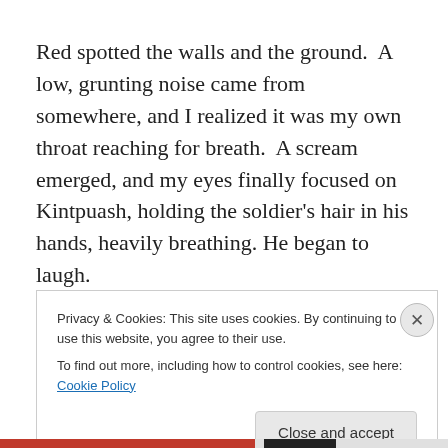Red spotted the walls and the ground.  A low, grunting noise came from somewhere, and I realized it was my own throat reaching for breath.  A scream emerged, and my eyes finally focused on Kintpuash, holding the soldier's hair in his hands, heavily breathing. He began to laugh.
Privacy & Cookies: This site uses cookies. By continuing to use this website, you agree to their use.
To find out more, including how to control cookies, see here: Cookie Policy
Close and accept